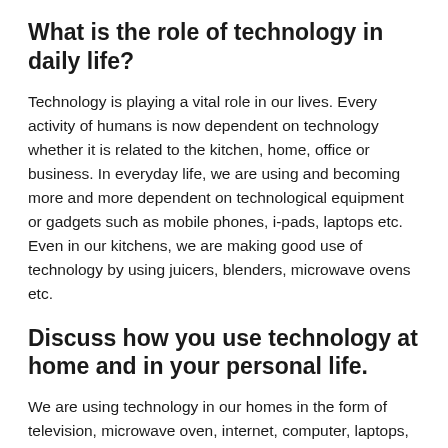What is the role of technology in daily life?
Technology is playing a vital role in our lives. Every activity of humans is now dependent on technology whether it is related to the kitchen, home, office or business. In everyday life, we are using and becoming more and more dependent on technological equipment or gadgets such as mobile phones, i-pads, laptops etc. Even in our kitchens, we are making good use of technology by using juicers, blenders, microwave ovens etc.
Discuss how you use technology at home and in your personal life.
We are using technology in our homes in the form of television, microwave oven, internet, computer, laptops, mobiles, vacuum cleaners etc. In one's personal life, people are using technology through the internet, mobile